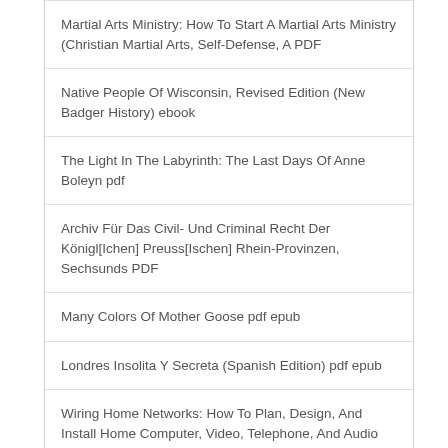Martial Arts Ministry: How To Start A Martial Arts Ministry (Christian Martial Arts, Self-Defense, A PDF
Native People Of Wisconsin, Revised Edition (New Badger History) ebook
The Light In The Labyrinth: The Last Days Of Anne Boleyn pdf
Archiv Für Das Civil- Und Criminal Recht Der Königl[Ichen] Preuss[Ischen] Rhein-Provinzen, Sechsunds PDF
Many Colors Of Mother Goose pdf epub
Londres Insolita Y Secreta (Spanish Edition) pdf epub
Wiring Home Networks: How To Plan, Design, And Install Home Computer, Video, Telephone, And Audio Sy pdf